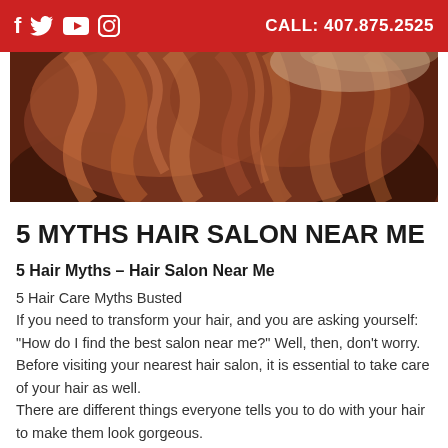CALL: 407.875.2525
[Figure (photo): Close-up photo of a person with long curly auburn/reddish-brown hair, hair filling the frame.]
5 MYTHS HAIR SALON NEAR ME
5 Hair Myths – Hair Salon Near Me
5 Hair Care Myths Busted
If you need to transform your hair, and you are asking yourself: "How do I find the best salon near me?" Well, then, don't worry. Before visiting your nearest hair salon, it is essential to take care of your hair as well.
There are different things everyone tells you to do with your hair to make them look gorgeous.
However, we rounded up our expert hairstylists to bust these myths for you so you can have the best